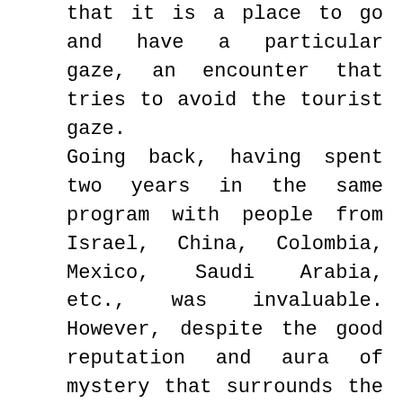that it is a place to go and have a particular gaze, an encounter that tries to avoid the tourist gaze.
Going back, having spent two years in the same program with people from Israel, China, Colombia, Mexico, Saudi Arabia, etc., was invaluable. However, despite the good reputation and aura of mystery that surrounds the school, it can feel like a production house. The bureaucracy ends up obstructing and limiting the vision. In the second year, you practically work for them.